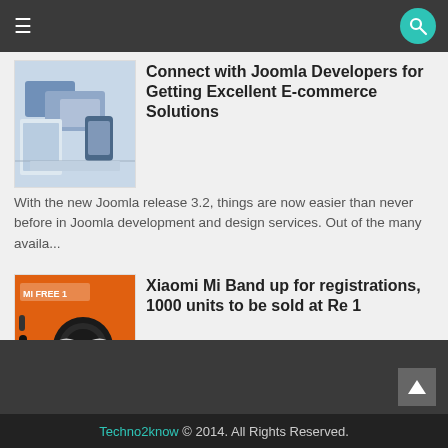Connect with Joomla Developers for Getting Excellent E-commerce Solutions
With the new Joomla release 3.2, things are now easier than never before in Joomla development and design services. Out of the many availa...
Xiaomi Mi Band up for registrations, 1000 units to be sold at Re 1
Xiaomi Mi Band up for registrations, 1000 units to be sold at Re 1 ,  the first flash sale is scheduled for May 4, while the special Re 1 f...
Techno2know © 2014. All Rights Reserved.